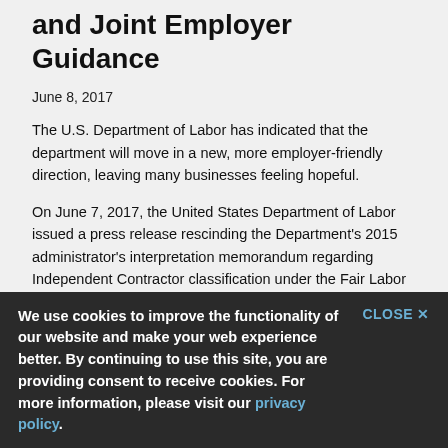and Joint Employer Guidance
June 8, 2017
The U.S. Department of Labor has indicated that the department will move in a new, more employer-friendly direction, leaving many businesses feeling hopeful.
On June 7, 2017, the United States Department of Labor issued a press release rescinding the Department's 2015 administrator's interpretation memorandum regarding Independent Contractor classification under the Fair Labor Standards Act (“FLSA”) and its 2016 administrator’s interpretation memorandum regarding joint employer status under the FLSA and the Migrant and Seasonal Agricultural Workers Protection Act. The press release was short
“U.S. Secretary of Labor Alexander Acosta today announced the withdrawal of the U.S. Department of Labor’s 2015 and 2016 informal guidance on joint employment and independent contractors. Removal of the administrator interpretations does not change the legal responsibilities of employers under the Fair Labo
We use cookies to improve the functionality of our website and make your web experience better. By continuing to use this site, you are providing consent to receive cookies. For more information, please visit our privacy policy.